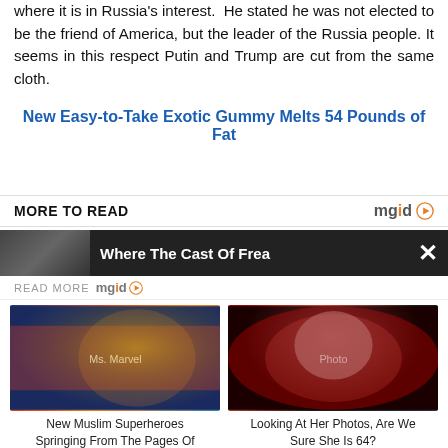where it is in Russia's interest. He stated he was not elected to be the friend of America, but the leader of the Russia people. It seems in this respect Putin and Trump are cut from the same cloth.
New Easy-to-Take Exotic Gummy Melts 54 Pounds of Fat
MORE TO READ
Where The Cast Of Frea...
READ MORE mgid
[Figure (photo): Illustration of Ms. Marvel / Kamala Khan animated superhero character]
New Muslim Superheroes Springing From The Pages Of Comic Books
[Figure (photo): Photo of a woman with short hair and sunglasses against a red spiral background]
Looking At Her Photos, Are We Sure She Is 64?